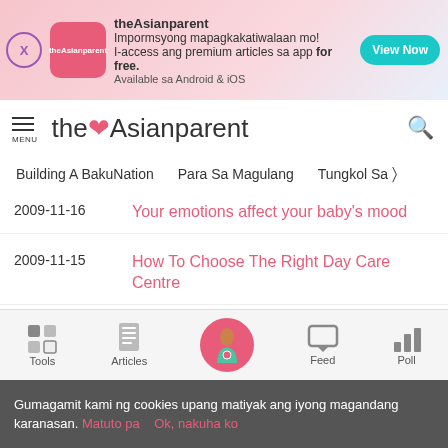[Figure (screenshot): theAsianparent app advertisement banner with close button, app logo, promotional text in Filipino, and View Now button]
theAsianparent
Building A BakuNation
Para Sa Magulang
Tungkol Sa
2009-11-16	Your emotions affect your baby's mood
2009-11-15	How To Choose The Right Day Care Centre
2009-11-14	10 PS3 Games I Would Recommend for Kids
2009-11-14	Nanny Caught Renting Out Baby to Beggars
Tools | Articles | Feed | Poll
Gumagamit kami ng cookies upang matiyak ang iyong magandang karanasan. Matuto pa   Ok, nakuha ko